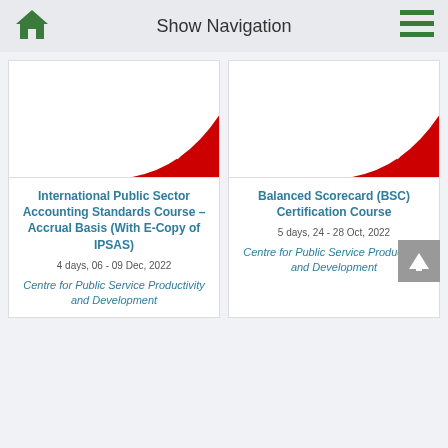Show Navigation
[Figure (illustration): Course card image with red 'Deal Inside' corner badge]
[Figure (illustration): Course card image with red 'Deal Inside' corner badge]
International Public Sector Accounting Standards Course – Accrual Basis (With E-Copy of IPSAS)
4 days, 06 - 09 Dec, 2022
Centre for Public Service Productivity and Development
Balanced Scorecard (BSC) Certification Course
5 days, 24 - 28 Oct, 2022
Centre for Public Service Productivity and Development